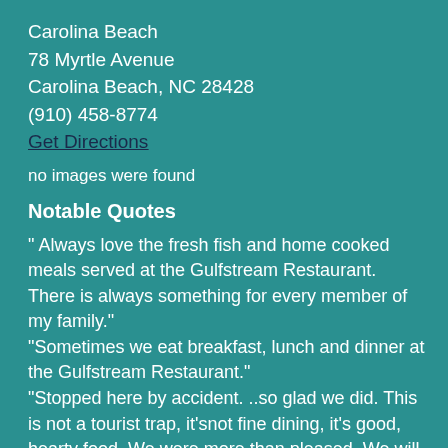Carolina Beach
78 Myrtle Avenue
Carolina Beach, NC 28428
(910) 458-8774
Get Directions
no images were found
Notable Quotes
" Always love the fresh fish and home cooked meals served at the Gulfstream Restaurant. There is always something for every member of my family."
"Sometimes we eat breakfast, lunch and dinner at the Gulfstream Restaurant."
"Stopped here by accident. ..so glad we did. This is not a tourist trap, it'snot fine dining, it's good, hearty food. We were more than pleased. We will be returning while here on vacation—reasonable prices..decent food. The